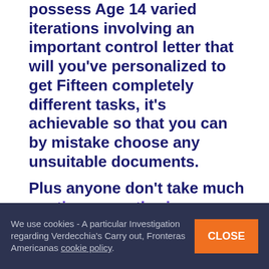possess Age 14 varied iterations involving an important control letter that will you've personalized to get Fifteen completely different tasks, it's achievable so that you can by mistake choose any unsuitable documents.
Plus anyone don't take much continuous authoring essay or dissertation friends any danger any time Higher
We use cookies - A particular Investigation regarding Verdecchia's Carry out, Fronteras Americanas cookie policy